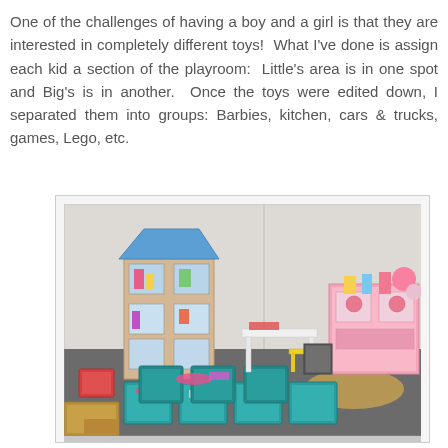One of the challenges of having a boy and a girl is that they are interested in completely different toys!  What I've done is assign each kid a section of the playroom:  Little's area is in one spot and Big's is in another.  Once the toys were edited down, I separated them into groups: Barbies, kitchen, cars & trucks, games, Lego, etc.
[Figure (photo): A playroom with a wooden dollhouse with blue roof on the left, a pink children's kitchen set on the right, a small white table with chairs in the middle, and multiple teal/turquoise fabric storage bins on the floor filled with toys. The floor has dark gray carpet with a yellow mat near the kitchen. Various colorful toys are visible throughout the room.]